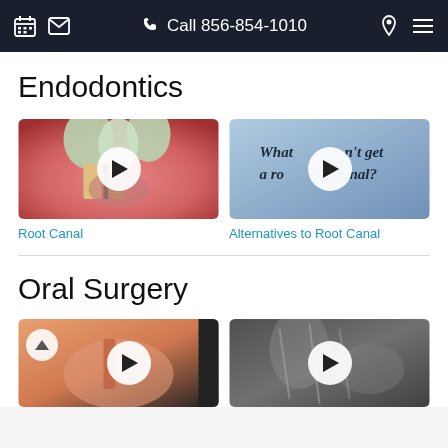Call 856-854-1010
Endodontics
[Figure (photo): Video thumbnail showing dental root canal cross-section illustration with play button]
Root Canal
[Figure (photo): Video thumbnail with blue background and text 'What can't get a root canal?' with play button]
Alternatives to Root Canal
Oral Surgery
[Figure (photo): Video thumbnail showing oral surgery illustration with play button and back-to-top button]
[Figure (photo): Video thumbnail showing black and white dental x-ray image with play button]